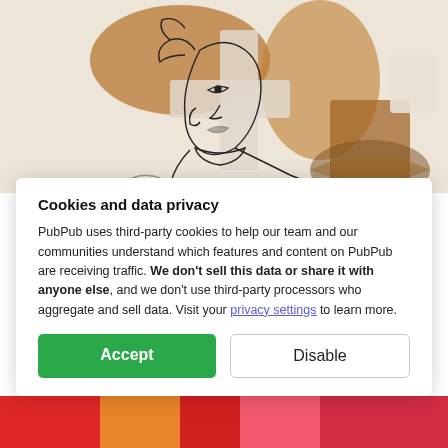[Figure (illustration): Artwork showing a line-drawing of a woman's face and figure with brown painted elements, tea-related imagery including what appears to be a basket, overlaid collage style.]
Book Forum: Tea and Solidarity
by Parker Hatley
[Figure (illustration): Small circular avatar with initials PH on dark grey background]
Cookies and data privacy
PubPub uses third-party cookies to help our team and our communities understand which features and content on PubPub are receiving traffic. We don't sell this data or share it with anyone else, and we don't use third-party processors who aggregate and sell data. Visit your privacy settings to learn more.
Accept
Disable
[Figure (photo): Partial bottom photo showing colorful clothing, partially visible.]